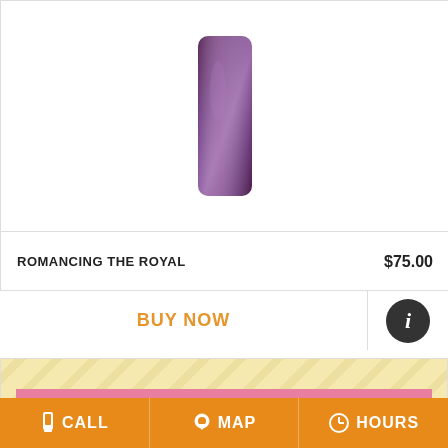[Figure (photo): Purple/dark vase flower arrangement product photo, partially cropped at top]
ROMANCING THE ROYAL
$75.00
BUY NOW
[Figure (photo): Info button (dark circle with letter i)]
[Figure (photo): Sweetest Day Premium Designer's Choice floral arrangement promotional banner image with pink roses, lilies, and diagonal yellow stripe background]
CALL
MAP
HOURS